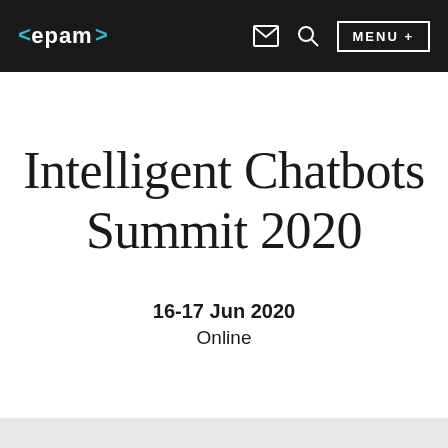<epam> [nav icons] MENU +
Intelligent Chatbots Summit 2020
16-17 Jun 2020
Online